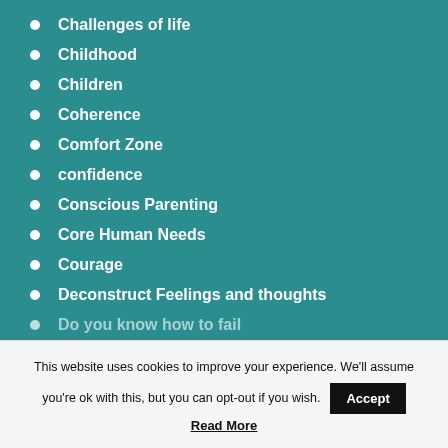Challenges of life
Childhood
Children
Coherence
Comfort Zone
confidence
Conscious Parenting
Core Human Needs
Courage
Deconstruct Feelings and thoughts
Do you know how to fail
This website uses cookies to improve your experience. We'll assume you're ok with this, but you can opt-out if you wish.
Accept
Read More